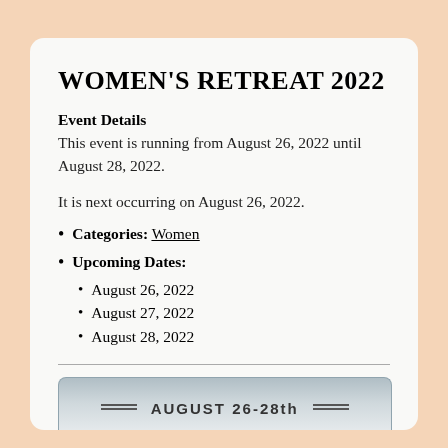WOMEN'S RETREAT 2022
Event Details
This event is running from August 26, 2022 until August 28, 2022.
It is next occurring on August 26, 2022.
Categories: Women
Upcoming Dates:
August 26, 2022
August 27, 2022
August 28, 2022
[Figure (photo): Women's Retreat event promotional image with text AUGUST 26-28th and decorative double-line borders]